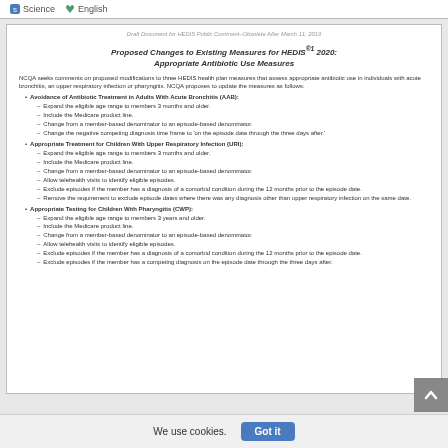Science  English
Draft Document for HEDIS Public Comment–Obsolete After March 11, 2019
Proposed Changes to Existing Measures for HEDIS®1 2020: Appropriate Antibiotic Use Measures
NCQA seeks comments on proposed modifications to three HEDIS health plan measures that assess appropriate antibiotic use in individuals with acute bronchitis, an upper respiratory infection or pharyngitis. NCQA proposes to update the measures as follows:
Avoidance of Antibiotic Treatment in Adults With Acute Bronchitis (AAB):
Expand the eligible age range to members 3 months and older.
Include the Medicare product line.
Change from a member-based denominator to an episode-based denominator.
Change the negative competing diagnosis time frame to 'on the episode date through the three days after.'
Appropriate Treatment for Children With Upper Respiratory Infection (URI):
Expand the eligible age range to members 3 months and older.
Include the Medicare product line.
Change from a member-based denominator to an episode-based denominator.
Allow telehealth visits to identify eligible episodes.
Exclude episodes if the member has a diagnosis of a comorbid condition during the 12 months prior to the episode date.
Remove the requirement to exclude episode dates where there was any diagnosis other than upper respiratory infection on the same date.
Appropriate Testing for Children With Pharyngitis (CWP):
Expand the eligible age range to members 3 years and older.
Include the Medicare product line.
Change from a member-based denominator to an episode-based denominator.
Allow telehealth visits to identify eligible episodes.
Exclude episodes if the member has a diagnosis of a comorbid condition during the 12 months prior to the episode date.
We use cookies.